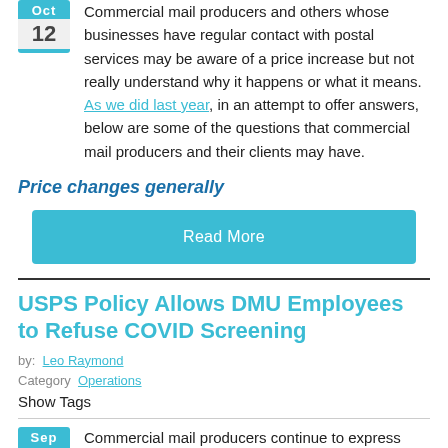Commercial mail producers and others whose businesses have regular contact with postal services may be aware of a price increase but not really understand why it happens or what it means. As we did last year, in an attempt to offer answers, below are some of the questions that commercial mail producers and their clients may have.
Price changes generally
[Figure (other): Read More button (cyan/teal background)]
USPS Policy Allows DMU Employees to Refuse COVID Screening
by: Leo Raymond
Category  Operations
Show Tags
Commercial mail producers continue to express